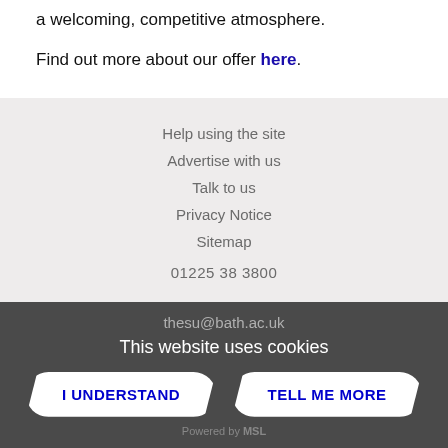a welcoming, competitive atmosphere.
Find out more about our offer here.
Help using the site
Advertise with us
Talk to us
Privacy Notice
Sitemap
01225 38 3800
thesu@bath.ac.uk
This website uses cookies
I UNDERSTAND | TELL ME MORE
Powered by MSL